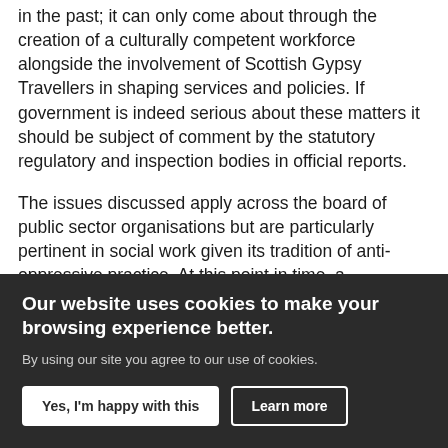in the past; it can only come about through the creation of a culturally competent workforce alongside the involvement of Scottish Gypsy Travellers in shaping services and policies. If government is indeed serious about these matters it should be subject of comment by the statutory regulatory and inspection bodies in official reports.
The issues discussed apply across the board of public sector organisations but are particularly pertinent in social work given its tradition of anti-oppressive practice. At this point in time, a
Our website uses cookies to make your browsing experience better.
By using our site you agree to our use of cookies.
Yes, I'm happy with this
Learn more